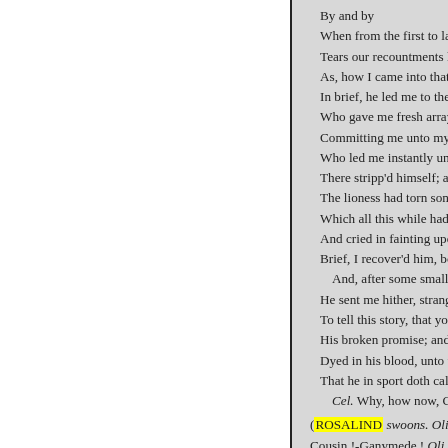By and by / When from the first to last, / Tears our recountments had / As, how I came into that de / In brief, he led me to the ge / Who gave me fresh array, a / Committing me unto my br / Who led me instantly unto h / There stripp'd himself; and / The lioness had torn some f / Which all this while had ble / And cried in fainting upon h / Brief, I recover'd him, boun / And, after some small spac / He sent me hither, stranger / To tell this story, that you m / His broken promise; and to / Dyed in his blood, unto the / That he in sport doth call hi
Cel. Why, how now, Gany
(ROSALIND swoons. Oli. Ma
Cousin !-Ganymede ! Oli. Look